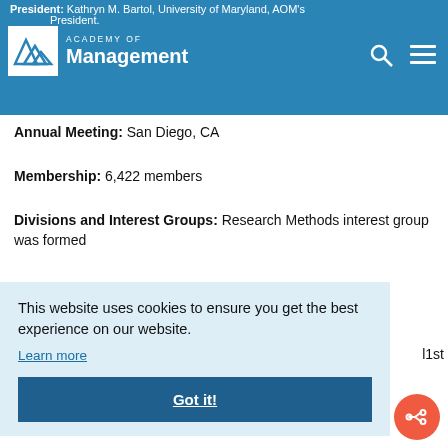President: Kathryn M. Bartol, University of Maryland, AOM's President
[Figure (logo): Academy of Management logo with mountain peaks and text 'ACADEMY OF Management']
Annual Meeting: San Diego, CA
Membership: 6,422 members
Divisions and Interest Groups: Research Methods interest group was formed
This website uses cookies to ensure you get the best experience on our website. Learn more
Got it!
11st
AOM celebrates fiftieth anniversary with the